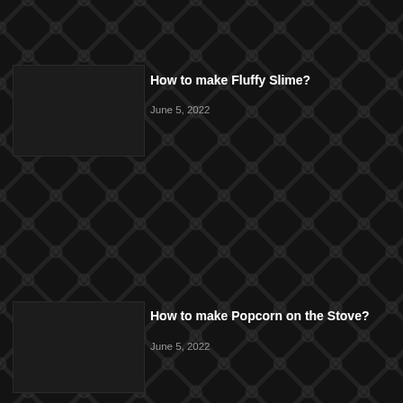How to make Fluffy Slime?
June 5, 2022
How to make Popcorn on the Stove?
June 5, 2022
POPULAR CATEGORY
Celsius To Fahrenheit    1200
Quotes    1040
Inch To CM    205